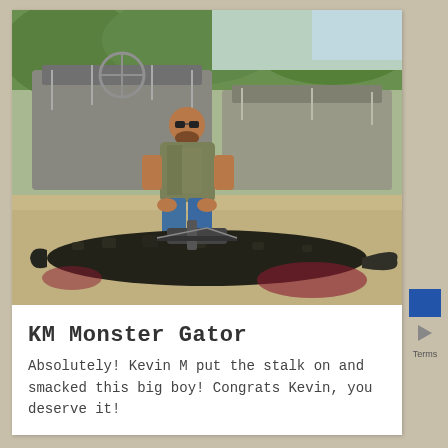[Figure (photo): A man in camouflage shirt and jeans crouching behind a large dead alligator on sandy ground, with airboats in the background. A crossbow is mounted on the alligator.]
KM Monster Gator
Absolutely!  Kevin M put the stalk on and smacked this big boy!  Congrats Kevin, you deserve it!